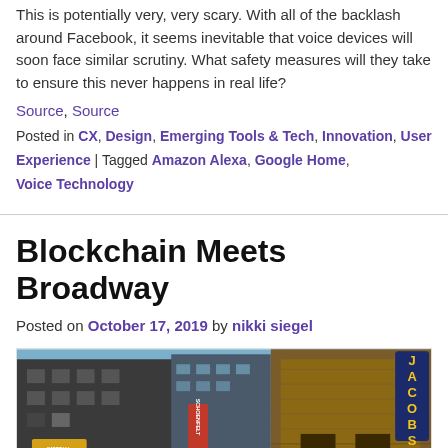This is potentially very, very scary. With all of the backlash around Facebook, it seems inevitable that voice devices will soon face similar scrutiny. What safety measures will they take to ensure this never happens in real life?
Source, Source
Posted in CX, Design, Emerging Tools & Tech, Innovation, User Experience | Tagged Amazon Alexa, Google Home, Voice Technology
Blockchain Meets Broadway
Posted on October 17, 2019 by nikki siegel
[Figure (photo): Street-level photo of Broadway theater district at night showing the Jacobs Theatre and Schoenfelt Theatre signs illuminated with neon lights, tall buildings in background against blue sky.]